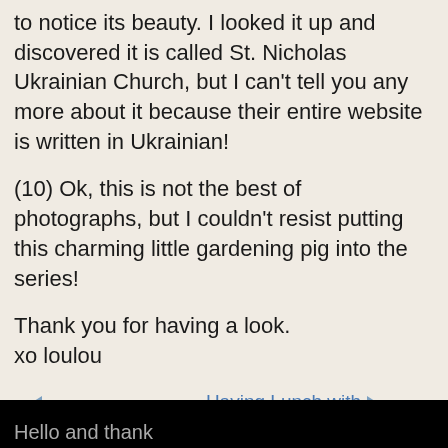to notice its beauty. I looked it up and discovered it is called St. Nicholas Ukrainian Church, but I can't tell you any more about it because their entire website is written in Ukrainian!
(10) Ok, this is not the best of photographs, but I couldn't resist putting this charming little gardening pig into the series!
Thank you for having a look.
xo loulou
← 'stat chu, Eddie?   Having Lunch with Spirits of the Past →
Hello and thank